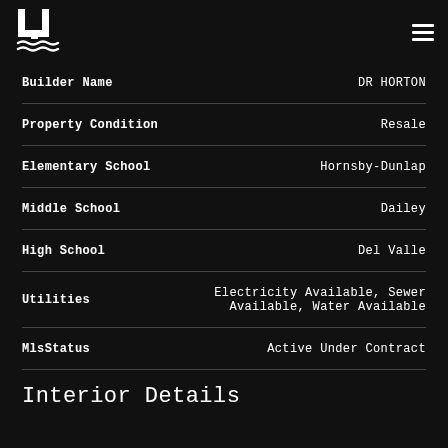LJ logo and hamburger menu
| Field | Value |
| --- | --- |
| Builder Name | DR HORTON |
| Property Condition | Resale |
| Elementary School | Hornsby-Dunlap |
| Middle School | Dailey |
| High School | Del Valle |
| Utilities | Electricity Available, Sewer Available, Water Available |
| MlsStatus | Active Under Contract |
Interior Details